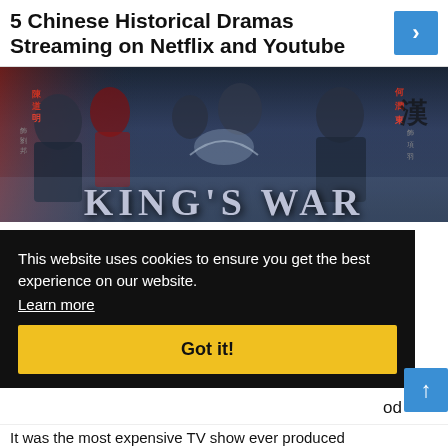5 Chinese Historical Dramas Streaming on Netflix and Youtube
[Figure (photo): Movie banner image for 'King's War' (Chu Han Contention) showing Chinese historical drama characters in armor and period costumes with the title 'KING'S WAR' in large letters at the bottom.]
This website uses cookies to ensure you get the best experience on our website.
Learn more
Got it!
in
Han
from
012
od
It was the most expensive TV show ever produced